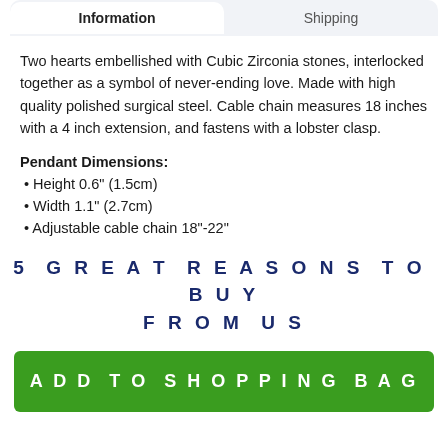Information | Shipping
Two hearts embellished with Cubic Zirconia stones, interlocked together as a symbol of never-ending love. Made with high quality polished surgical steel. Cable chain measures 18 inches with a 4 inch extension, and fastens with a lobster clasp.
Pendant Dimensions:
Height 0.6" (1.5cm)
Width 1.1" (2.7cm)
Adjustable cable chain 18"-22"
5 GREAT REASONS TO BUY FROM US
ADD TO SHOPPING BAG